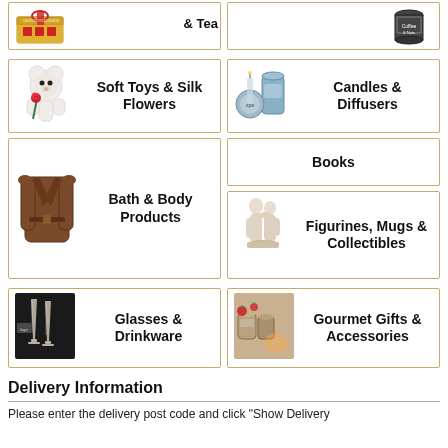[Figure (illustration): Partial top row left card: gift box image]
[Figure (illustration): Partial top row right card: tea/coffee tin with text '& Tea']
[Figure (photo): Card: white teddy bear with red rose, label 'Soft Toys & Silk Flowers']
[Figure (photo): Card: blue candle jar and diffuser, label 'Candles & Diffusers']
[Figure (photo): Card: brown bathrobe, label 'Bath & Body Products']
[Figure (illustration): Card: no image, label 'Books']
[Figure (photo): Card: figurines of embracing people, label 'Figurines, Mugs & Collectibles']
[Figure (photo): Card: champagne flutes on dark background, label 'Glasses & Drinkware']
[Figure (photo): Card: gourmet jars with strawberries, label 'Gourmet Gifts & Accessories']
Delivery Information
Please enter the delivery post code and click "Show Delivery